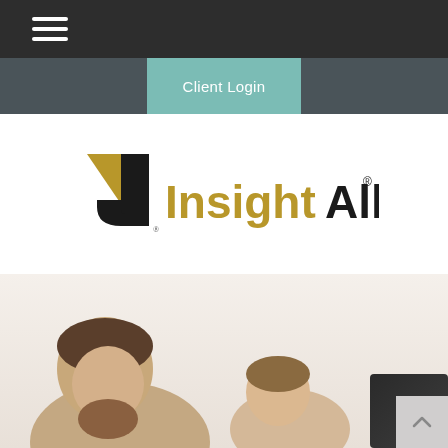[Figure (logo): Hamburger menu icon (three horizontal white lines) in a dark top navigation bar]
Client Login
[Figure (logo): Insight Alliance logo: stylized golden J/arrow icon with registered trademark, text 'Insight' in golden color and 'Alliance' in dark/black color with registered trademark symbol]
[Figure (photo): Partial photograph showing a man and a child (likely father and young child) smiling and looking upward, bottom portion of page]